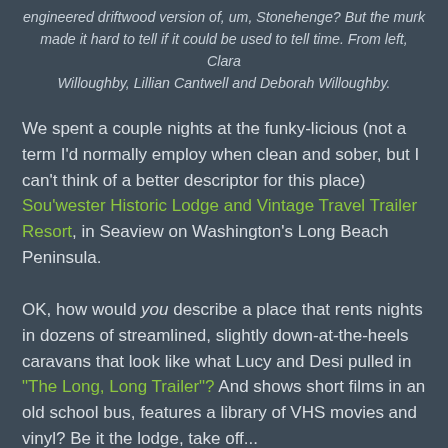engineered driftwood version of, um, Stonehenge? But the murk made it hard to tell if it could be used to tell time. From left, Clara Willoughby, Lillian Cantwell and Deborah Willoughby.
We spent a couple nights at the funky-licious (not a term I'd normally employ when clean and sober, but I can't think of a better descriptor for this place) Sou'wester Historic Lodge and Vintage Travel Trailer Resort, in Seaview on Washington's Long Beach Peninsula.
OK, how would you describe a place that rents nights in dozens of streamlined, slightly down-at-the-heels caravans that look like what Lucy and Desi pulled in "The Long, Long Trailer"? And shows short films in an old school bus, features a library of VHS movies and vinyl? Be it the lodge, take off...